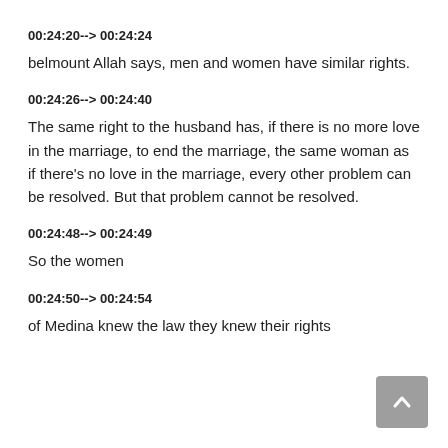00:24:20--> 00:24:24
belmount Allah says, men and women have similar rights.
00:24:26--> 00:24:40
The same right to the husband has, if there is no more love in the marriage, to end the marriage, the same woman as if there's no love in the marriage, every other problem can be resolved. But that problem cannot be resolved.
00:24:48--> 00:24:49
So the women
00:24:50--> 00:24:54
of Medina knew the law they knew their rights